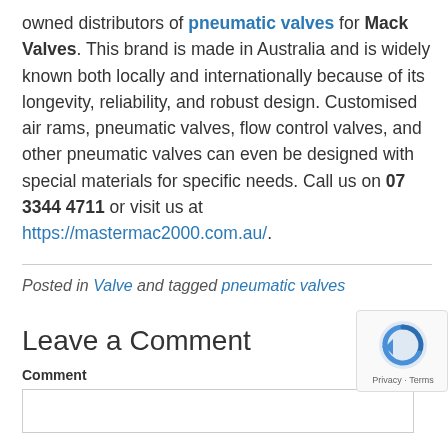owned distributors of pneumatic valves for Mack Valves. This brand is made in Australia and is widely known both locally and internationally because of its longevity, reliability, and robust design. Customised air rams, pneumatic valves, flow control valves, and other pneumatic valves can even be designed with special materials for specific needs. Call us on 07 3344 4711 or visit us at https://mastermac2000.com.au/.
Posted in Valve and tagged pneumatic valves
Leave a Comment
Comment